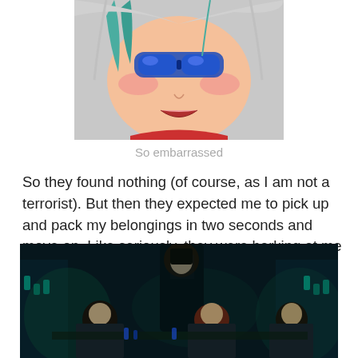[Figure (illustration): Anime-style illustration of a character with blue goggles/glasses, flushed cheeks, teal hair streaks, and an open mouth expression showing embarrassment]
So embarrassed
So they found nothing (of course, as I am not a terrorist). But then they expected me to pick up and pack my belongings in two seconds and move on. Like seriously, they were barking at me as I tried to refit everything in, which is no easy task.
[Figure (photo): Movie still from Harry Potter showing students in dark robes at a potions class with Professor Snape looming over them. Students include Hermione, Ron, Harry and others in a dark dungeon-like setting with green-tinted lighting and potion bottles in the background.]